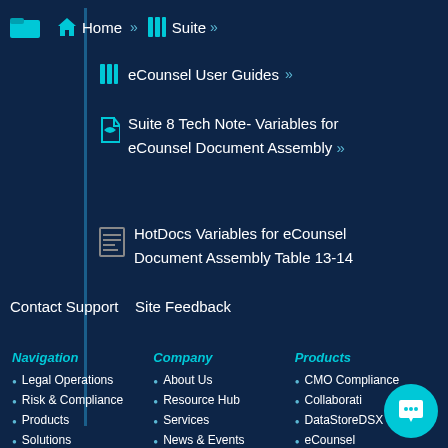Home » Suite »
eCounsel User Guides »
Suite 8 Tech Note- Variables for eCounsel Document Assembly »
HotDocs Variables for eCounsel Document Assembly Table 13-14
Contact Support   Site Feedback
Navigation
Legal Operations
Risk & Compliance
Products
Solutions
Company
About Us
Resource Hub
Services
News & Events
Contact Us
Careers
Products
CMO Compliance
Collaborati
DataStoreDSX
eCounsel
Lawtrac
OpRiskCo…
PolicyHu…
Secretaria…
TAP Workflow